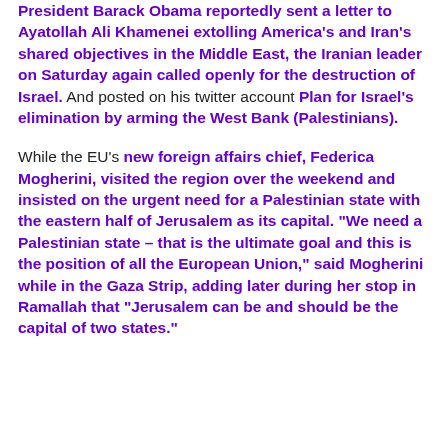President Barack Obama reportedly sent a letter to Ayatollah Ali Khamenei extolling America's and Iran's shared objectives in the Middle East, the Iranian leader on Saturday again called openly for the destruction of Israel. And posted on his twitter account Plan for Israel's elimination by arming the West Bank (Palestinians).
While the EU's new foreign affairs chief, Federica Mogherini, visited the region over the weekend and insisted on the urgent need for a Palestinian state with the eastern half of Jerusalem as its capital. "We need a Palestinian state – that is the ultimate goal and this is the position of all the European Union," said Mogherini while in the Gaza Strip, adding later during her stop in Ramallah that "Jerusalem can be and should be the capital of two states."